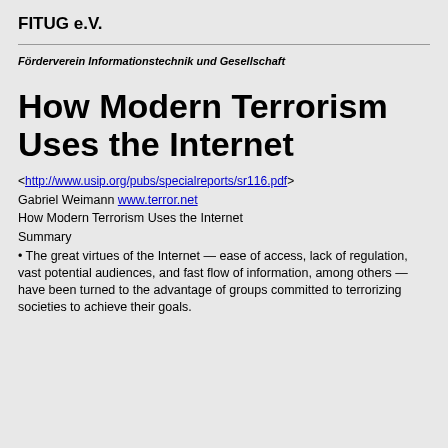FITUG e.V.
Förderverein Informationstechnik und Gesellschaft
How Modern Terrorism Uses the Internet
<http://www.usip.org/pubs/specialreports/sr116.pdf>
Gabriel Weimann www.terror.net
How Modern Terrorism Uses the Internet
Summary
• The great virtues of the Internet — ease of access, lack of regulation, vast potential audiences, and fast flow of information, among others — have been turned to the advantage of groups committed to terrorizing societies to achieve their goals.